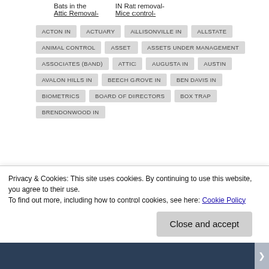Bats in the Attic Removal-
IN Rat removal- Mice control-
ACTON IN
ACTUARY
ALLISONVILLE IN
ALLSTATE
ANIMAL CONTROL
ASSET
ASSETS UNDER MANAGEMENT
ASSOCIATES (BAND)
ATTIC
AUGUSTA IN
AUSTIN
AVALON HILLS IN
BEECH GROVE IN
BEN DAVIS IN
BIOMETRICS
BOARD OF DIRECTORS
BOX TRAP
BRENDONWOOD IN
Privacy & Cookies: This site uses cookies. By continuing to use this website, you agree to their use.
To find out more, including how to control cookies, see here: Cookie Policy
Close and accept